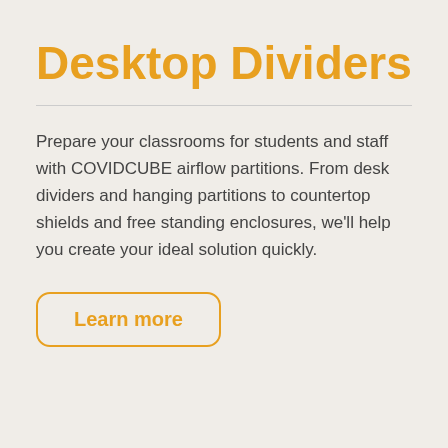Desktop Dividers
Prepare your classrooms for students and staff with COVIDCUBE airflow partitions. From desk dividers and hanging partitions to countertop shields and free standing enclosures, we'll help you create your ideal solution quickly.
Learn more